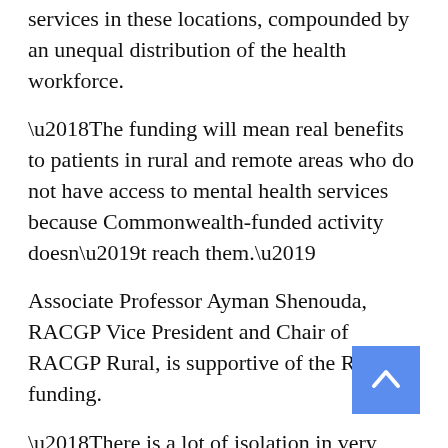services in these locations, compounded by an unequal distribution of the health workforce.
‘The funding will mean real benefits to patients in rural and remote areas who do not have access to mental health services because Commonwealth-funded activity doesn’t reach them.’
Associate Professor Ayman Shenouda, RACGP Vice President and Chair of RACGP Rural, is supportive of the RFDS funding.
‘There is a lot of isolation in very small rural and remote communities, but they deserve to have the services and healthcare others have access to,’ he told newsGP.
‘So it’s a great initiative to support those